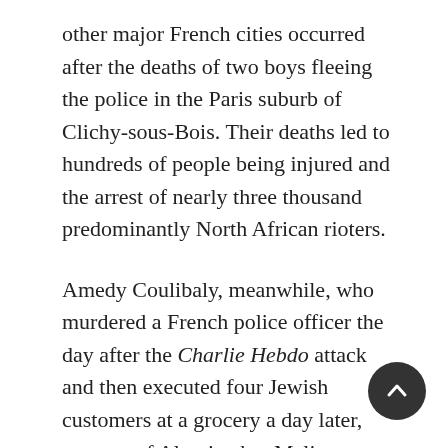other major French cities occurred after the deaths of two boys fleeing the police in the Paris suburb of Clichy-sous-Bois. Their deaths led to hundreds of people being injured and the arrest of nearly three thousand predominantly North African rioters.
Amedy Coulibaly, meanwhile, who murdered a French police officer the day after the Charlie Hebdo attack and then executed four Jewish customers at a grocery a day later, was not of Algerian but Malian descent. While Mali's independence was achieved with less bloodshed than Algeria's, the history of French colonialism there was only slightly less vicious. As Bertrand Taithe's recent book, The Killer Trail, illustrates, for example, the "Voulet-Chanoine Mission traveled through Mali and the so-called